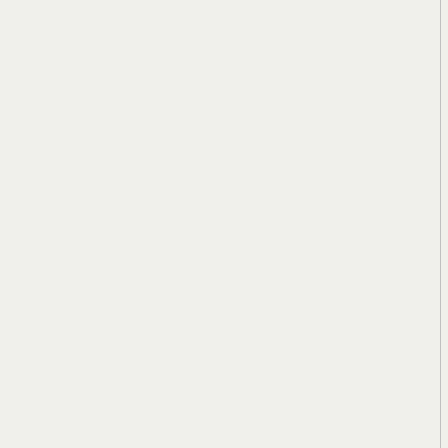i'm probably gonna headlights and put th
i think it will be easie 3000 kms on my sco to service my scoote bulb at the same tim
i got some dough, b never been very goo
1 more question, ho goes by, when you h every 3 months or c 1 year?
i'm pretty sure the ne in north america will the stock one.
in my scooter's defe last 9 months.
i might man up and
cheers,